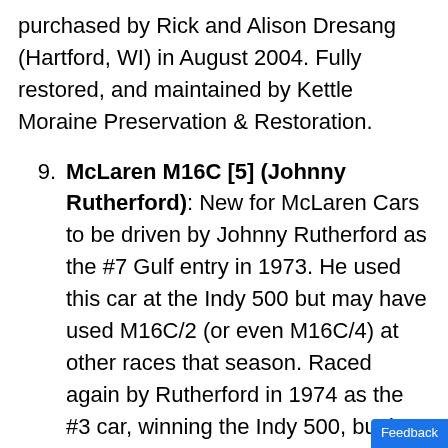purchased by Rick and Alison Dresang (Hartford, WI) in August 2004. Fully restored, and maintained by Kettle Moraine Preservation & Restoration.
9. McLaren M16C [5] (Johnny Rutherford): New for McLaren Cars to be driven by Johnny Rutherford as the #7 Gulf entry in 1973. He used this car at the Indy 500 but may have used M16C/2 (or even M16C/4) at other races that season. Raced again by Rutherford in 1974 as the #3 car, winning the Indy 500, but he used another M16C at short track events that year. This car then became Rutherford's short-track car in 1975 and 1976. Sold to George Walther to be Salt Walther #33 backup car at Indy in 1977 but how it was used that season is unknown. Entered by Walther at the 1978 Indy 500 as the #34 for Graham McRae b...